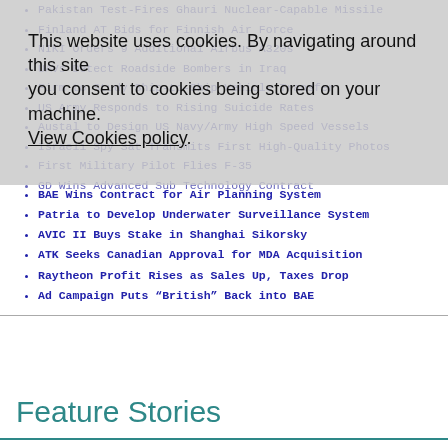Pakistan Test-Fires Ghauri Nuclear-Capable Missile
Finland AT Bids for Finnish Air Force
NIKI Orders 9 Additional Airbus A320s
UAVs Detect Roadside Bombers in Iraq
Firm to Study Ship-to-Ship Vehicle Transfer
US Army Responds to Rising Suicide Rates
Austal to Design US Navy/Army High Speed Vessels
Israeli Spy Sat Transmits First High-Quality Photos
First Military Pilot Flies F-35
GD Wins Advanced Sub Technology Contract
This website uses cookies. By navigating around this site you consent to cookies being stored on your machine. View Cookies policy.
BAE Wins Contract for Air Planning System
Patria to Develop Underwater Surveillance System
AVIC II Buys Stake in Shanghai Sikorsky
ATK Seeks Canadian Approval for MDA Acquisition
Raytheon Profit Rises as Sales Up, Taxes Drop
Ad Campaign Puts “British” Back into BAE
Feature Stories